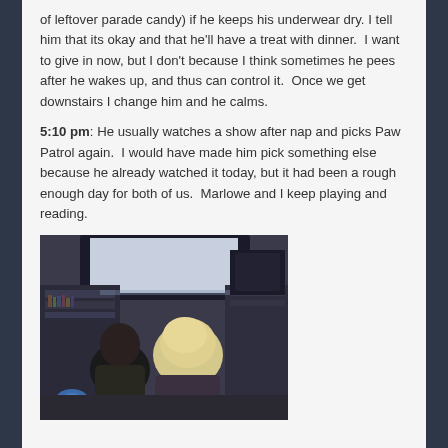of leftover parade candy) if he keeps his underwear dry. I tell him that its okay and that he'll have a treat with dinner.  I want to give in now, but I don't because I think sometimes he pees after he wakes up, and thus can control it.  Once we get downstairs I change him and he calms.
5:10 pm: He usually watches a show after nap and picks Paw Patrol again.  I would have made him pick something else because he already watched it today, but it had been a rough enough day for both of us.  Marlowe and I keep playing and reading.
[Figure (photo): Photo of two children from behind, sitting in front of a TV/monitor in a dark room with shelving and electronics visible. One child has light/blonde hair, the other is darker. Some toys are visible.]